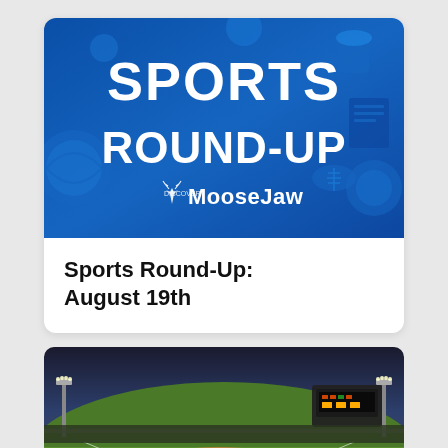[Figure (illustration): Sports Round-Up banner image with blue background featuring various sports equipment and the Discover Moose Jaw logo. Large white bold text reads SPORTS ROUND-UP.]
Sports Round-Up: August 19th
[Figure (photo): Photograph of a baseball game at night with players on the field, stadium lights, and a scoreboard visible in the background under a dramatic sky.]